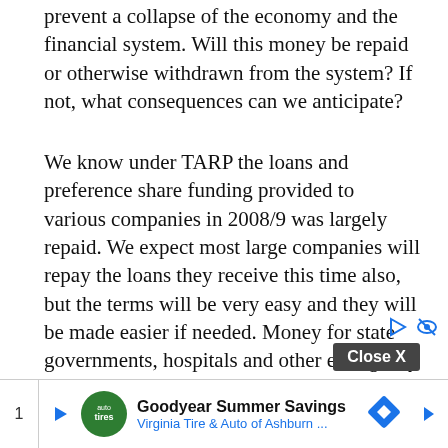prevent a collapse of the economy and the financial system. Will this money be repaid or otherwise withdrawn from the system? If not, what consequences can we anticipate?
We know under TARP the loans and preference share funding provided to various companies in 2008/9 was largely repaid. We expect most large companies will repay the loans they receive this time also, but the terms will be very easy and they will be made easier if needed. Money for state governments, hospitals and other emergency health-related expenditures is not coming back. Most of the money to smaller companies will likely be in the form of grants if they keep employees on salary. Money directly to individuals will not be repaid.
Close X
Search
[Figure (other): Advertisement bar at bottom: Goodyear Summer Savings - Virginia Tire & Auto of Ashburn, with logo, map icon, navigation arrows, and page number 1.]